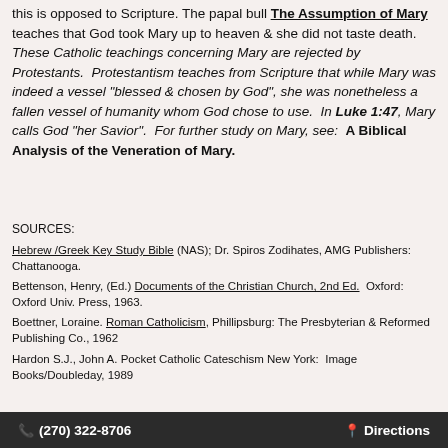this is opposed to Scripture. The papal bull The Assumption of Mary teaches that God took Mary up to heaven & she did not taste death. These Catholic teachings concerning Mary are rejected by Protestants. Protestantism teaches from Scripture that while Mary was indeed a vessel "blessed & chosen by God", she was nonetheless a fallen vessel of humanity whom God chose to use. In Luke 1:47, Mary calls God "her Savior". For further study on Mary, see: A Biblical Analysis of the Veneration of Mary.
SOURCES:
Hebrew /Greek Key Study Bible (NAS); Dr. Spiros Zodihates, AMG Publishers: Chattanooga.
Bettenson, Henry, (Ed.) Documents of the Christian Church, 2nd Ed. Oxford: Oxford Univ. Press, 1963.
Boettner, Loraine. Roman Catholicism, Phillipsburg: The Presbyterian & Reformed Publishing Co., 1962
Hardon S.J., John A. Pocket Catholic Cateschism New York: Image Books/Doubleday, 1989
(270) 322-8706    Directions